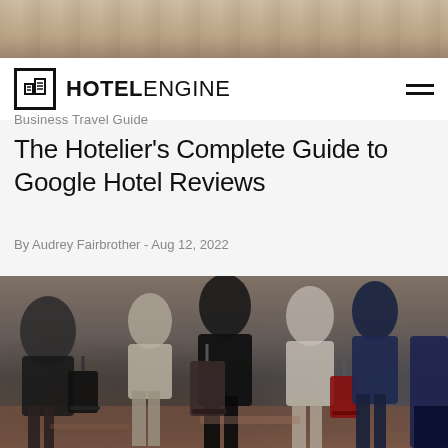[Figure (photo): Top portion of a hotel room photo showing bedding/pillows, cropped at top of page]
HOTELENGINE Business Travel Guide
The Hotelier’s Complete Guide to Google Hotel Reviews
By Audrey Fairbrother - Aug 12, 2022
[Figure (photo): Group of business travelers walking with rolling luggage suitcases in a hotel lobby, multiple people in business attire including suits and skirts, rolling luggage visible including black and red suitcases]